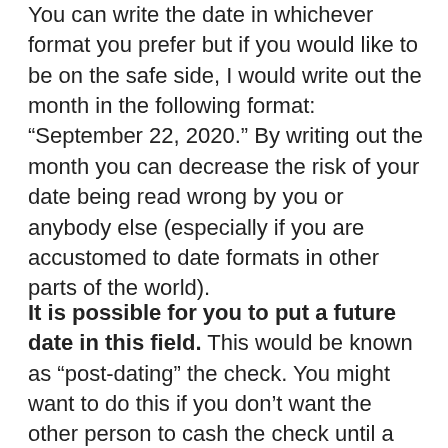You can write the date in whichever format you prefer but if you would like to be on the safe side, I would write out the month in the following format: “September 22, 2020.” By writing out the month you can decrease the risk of your date being read wrong by you or anybody else (especially if you are accustomed to date formats in other parts of the world).
It is possible for you to put a future date in this field. This would be known as “post-dating” the check. You might want to do this if you don’t want the other person to cash the check until a certain date because you might be waiting on funds to arrive, for